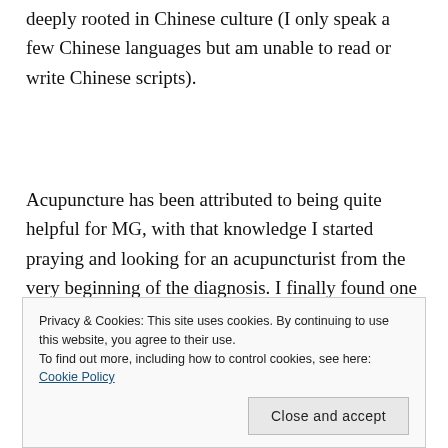deeply rooted in Chinese culture (I only speak a few Chinese languages but am unable to read or write Chinese scripts).
Acupuncture has been attributed to being quite helpful for MG, with that knowledge I started praying and looking for an acupuncturist from the very beginning of the diagnosis. I finally found one after more than a year
Privacy & Cookies: This site uses cookies. By continuing to use this website, you agree to their use.
To find out more, including how to control cookies, see here: Cookie Policy
Close and accept